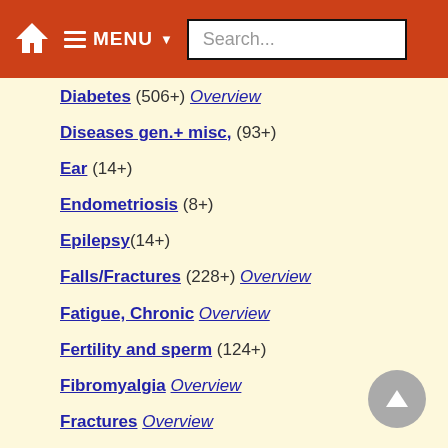MENU Search...
Diabetes (506+) Overview
Diseases gen.+ misc, (93+)
Ear (14+)
Endometriosis (8+)
Epilepsy(14+)
Falls/Fractures (228+) Overview
Fatigue, Chronic Overview
Fertility and sperm (124+)
Fibromyalgia Overview
Fractures Overview
Fraility (16+)
Genetics (300+)
CYP27B1 (49+)